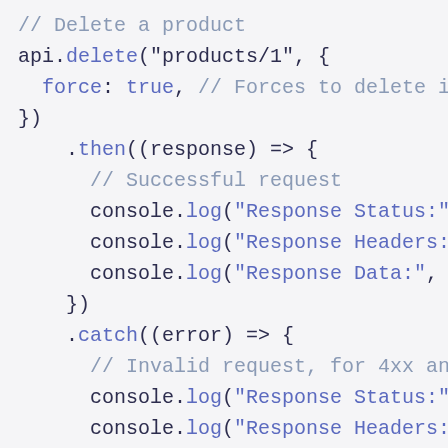// Delete a product
api.delete("products/1", {
  force: true, // Forces to delete ir
})
  .then((response) => {
    // Successful request
    console.log("Response Status:", r
    console.log("Response Headers:",
    console.log("Response Data:", res
  })
  .catch((error) => {
    // Invalid request, for 4xx and 5
    console.log("Response Status:", e
    console.log("Response Headers:",
    console.log("Response Data:", err
  })